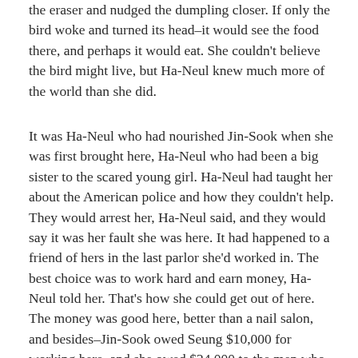the eraser and nudged the dumpling closer. If only the bird woke and turned its head–it would see the food there, and perhaps it would eat.  She couldn't believe the bird might live, but Ha-Neul knew much more of the world than she did.
It was Ha-Neul who had nourished Jin-Sook when she was first brought here, Ha-Neul who had been a big sister to the scared young girl.  Ha-Neul had taught her about the American police and how they couldn't help.  They would arrest her, Ha-Neul said, and they would say it was her fault she was here.  It had happened to a friend of hers in the last parlor she'd worked in.  The best choice was to work hard and earn money, Ha-Neul told her.  That's how she could get out of here.  The money was good here, better than a nail salon, and besides–Jin-Sook owed Seung $10,000 for working here, and she owed $24,000 to the men who had smuggled her here, on top of what she owed when she took the job.  She had to work. She owed a debt.